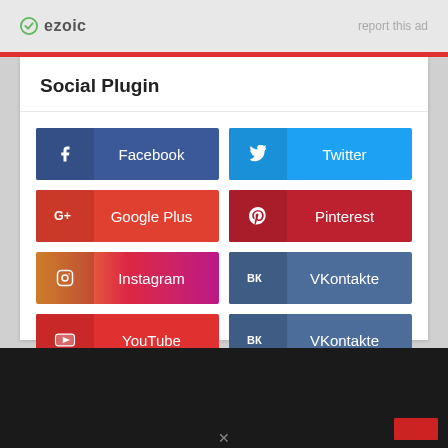ezoic   report this ad
Social Plugin
[Figure (infographic): Social media plugin buttons grid showing: Facebook, Twitter, Google Plus, Pinterest, Instagram, VKontakte, YouTube, VKontakte — each as a colored button with icon and label]